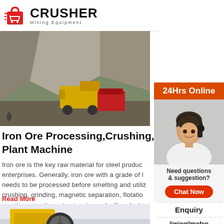[Figure (logo): Crusher Mining Equipment logo with red shopping bag icon and bold text]
[Figure (photo): Mining quarry scene with large yellow dump truck and red crushing machine]
Iron Ore Processing,Crushing,Grinding Plant Machine
Iron ore is the key raw material for steel production enterprises. Generally, iron ore with a grade of less than 50% needs to be processed before smelting and utilization. After crushing, grinding, magnetic separation, flotation, and gravity separation, etc., iron is gradually selected from natural iron ore.
Read More
[Figure (photo): Yellow jaw crusher machine in a factory setting]
[Figure (photo): 24Hrs Online sidebar with woman wearing headset smiling]
Need questions & suggestion?
Chat Now
Enquiry
limingjlmofen@sina.com